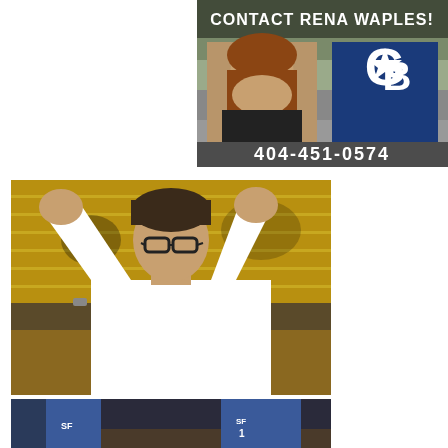[Figure (photo): Advertisement for real estate agent Rena Waples. Shows text 'CONTACT RENA WAPLES!' at top, a photo of a woman with brown hair on the left, a Coldwell Banker logo (CB with star) on the right, and the phone number 404-451-0574 at the bottom.]
[Figure (photo): A man in a white dress shirt with glasses, clapping or gesturing with his hands raised, appearing to be a basketball coach on the sideline in a gymnasium with yellow bleachers in the background.]
[Figure (photo): Partial photo showing basketball players in blue uniforms with 'SF' lettering, cropped at the bottom of the page.]